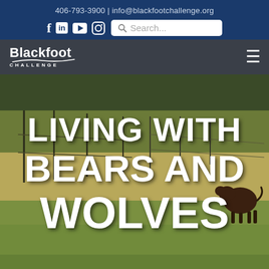406-793-3900 | info@blackfootchallenge.org
[Figure (screenshot): Social media icons: Facebook (f), LinkedIn (in), YouTube (play button), Instagram (camera icon), followed by a search box with placeholder text 'Search...']
[Figure (logo): Blackfoot Challenge logo with swoosh underline and 'CHALLENGE' text in letter-spaced caps]
[Figure (photo): Outdoor photograph of a grass field with cattle visible at right and fence/irrigation equipment in background, with large white bold text overlay reading 'LIVING WITH BEARS AND WOLVES']
LIVING WITH BEARS AND WOLVES